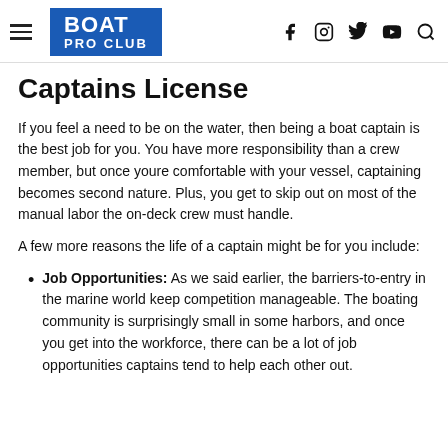BOAT PRO CLUB
Captains License
If you feel a need to be on the water, then being a boat captain is the best job for you. You have more responsibility than a crew member, but once youre comfortable with your vessel, captaining becomes second nature. Plus, you get to skip out on most of the manual labor the on-deck crew must handle.
A few more reasons the life of a captain might be for you include:
Job Opportunities: As we said earlier, the barriers-to-entry in the marine world keep competition manageable. The boating community is surprisingly small in some harbors, and once you get into the workforce, there can be a lot of job opportunities captains tend to help each other out.